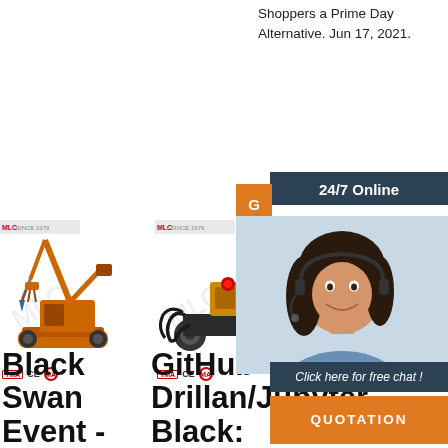Shoppers a Prime Day Alternative. Jun 17, 2021.
[Figure (infographic): 24/7 online chat widget with woman wearing headset, orange button, dark header, 'Click here for free chat!' text, and orange QUOTATION button]
[Figure (photo): Construction machinery / drill rig product image with MLC SINCE 1979 logo and TMA CE MA certification icons]
[Figure (photo): Electric cable reel / winch product image with MLC SINCE 1979 logo and TMA CE MA certification icons]
[Figure (photo): Third product image partially obscured by chat widget, MLC logo visible]
Black Swan Event -
GitHub - Drillan/Jupyter Black:
Black holes TOP logo 2020-11-23 · A black